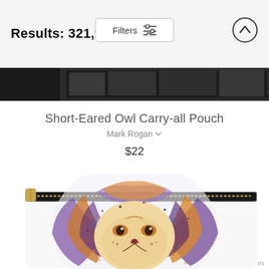Results: 321,922
Filters
[Figure (illustration): Partial view of a previous product listing with dark/black image at top]
Short-Eared Owl Carry-all Pouch
Mark Rogan
$22
[Figure (photo): A carry-all pouch product featuring a colorful watercolor-style lion portrait. The pouch has a black zipper with a gold zipper pull. The lion face is rendered in vibrant purples, oranges, yellows, and blues in a watercolor splatter style.]